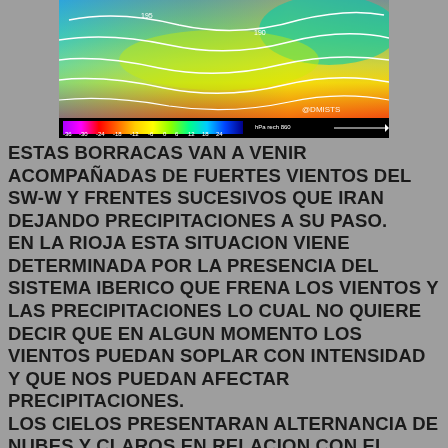[Figure (map): Weather map showing wind and pressure patterns over the Iberian Peninsula and surrounding areas, with a color scale from -36 to 24 (hPa rech 860) at the bottom, on a black colorbar. The map displays isobars as white lines over a color-coded meteorological field ranging from blue/green (low values) through yellow/orange to red/purple (high values). Watermark: @DMISTS.]
ESTAS BORRACAS VAN A VENIR ACOMPAÑADAS DE FUERTES VIENTOS DEL SW-W Y FRENTES SUCESIVOS QUE IRAN DEJANDO PRECIPITACIONES A SU PASO. EN LA RIOJA ESTA SITUACION VIENE DETERMINADA POR LA PRESENCIA DEL SISTEMA IBERICO QUE FRENA LOS VIENTOS Y LAS PRECIPITACIONES LO CUAL NO QUIERE DECIR QUE EN ALGUN MOMENTO LOS VIENTOS PUEDAN SOPLAR CON INTENSIDAD Y QUE NOS PUEDAN AFECTAR PRECIPITACIONES. LOS CIELOS PRESENTARAN ALTERNANCIA DE NUBES Y CLAROS EN RELACION CON EL PASO DE LOS FRENTES.HABRA DIAS MUY NUBOSOS Y OTROS SOLEADOS. LOS VIENTOS VAN A SER FUERTES DEL SW, ESTOS VIENTOS SE HARAN NOTAR MAS EN ZONAS ALTAS. EN LAS ZONAS BAJAS PUEDE HABER MOMENTOS  CON RACHAS INTENSAS PERO LOS VIENTOS DEL S-SW NO SUELEN AFECTARNOS CON FUERZA, EN TODO CASO